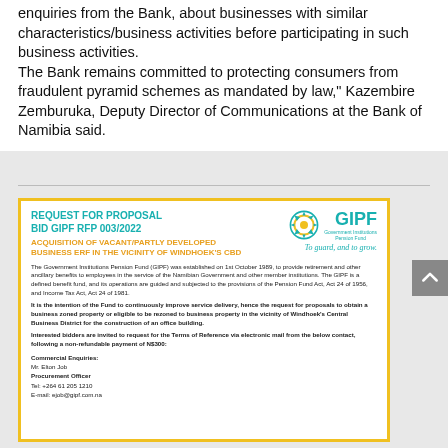enquiries from the Bank, about businesses with similar characteristics/business activities before participating in such business activities. The Bank remains committed to protecting consumers from fraudulent pyramid schemes as mandated by law," Kazembire Zemburuka, Deputy Director of Communications at the Bank of Namibia said.
[Figure (infographic): GIPF Request for Proposal advertisement. BID GIPF RFP 003/2022 for Acquisition of Vacant/Partly Developed Business Erf in the Vicinity of Windhoek's CBD. Includes GIPF logo (Government Institutions Pension Fund) with circular logo and tagline 'To guard, and to grow.' Body text describes GIPF establishment and purpose, invitation for proposals, and contact details for Commercial Enquiries: Mr. Elton Job, Procurement Officer, Tel: +264 61 205 1210, E-mail: ejob@gipf.com.na]